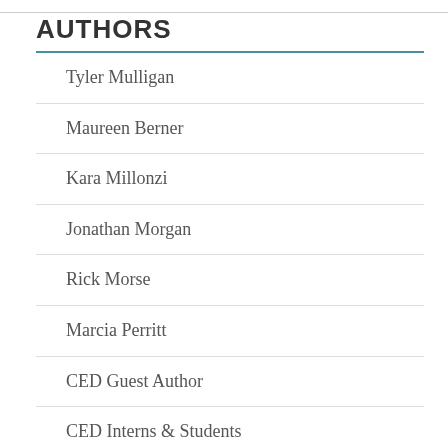AUTHORS
Tyler Mulligan
Maureen Berner
Kara Millonzi
Jonathan Morgan
Rick Morse
Marcia Perritt
CED Guest Author
CED Interns & Students